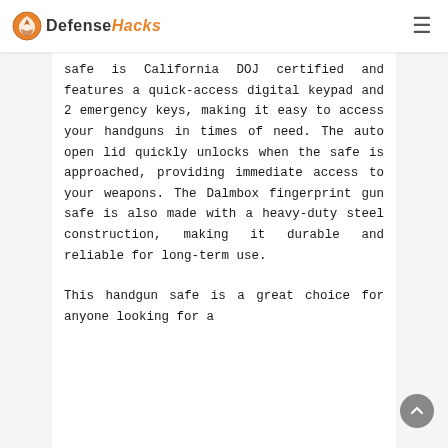DefenseHacks
safe is California DOJ certified and features a quick-access digital keypad and 2 emergency keys, making it easy to access your handguns in times of need. The auto open lid quickly unlocks when the safe is approached, providing immediate access to your weapons. The Dalmbox fingerprint gun safe is also made with a heavy-duty steel construction, making it durable and reliable for long-term use.
This handgun safe is a great choice for anyone looking for a